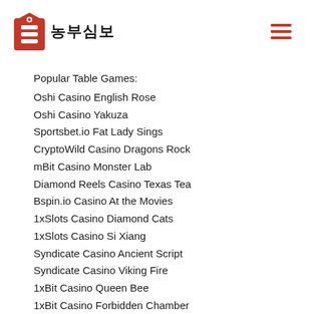농부심보
Popular Table Games:
Oshi Casino English Rose
Oshi Casino Yakuza
Sportsbet.io Fat Lady Sings
CryptoWild Casino Dragons Rock
mBit Casino Monster Lab
Diamond Reels Casino Texas Tea
Bspin.io Casino At the Movies
1xSlots Casino Diamond Cats
1xSlots Casino Si Xiang
Syndicate Casino Ancient Script
Syndicate Casino Viking Fire
1xBit Casino Queen Bee
1xBit Casino Forbidden Chamber
King Billy Casino Lolly Land
King Billy Casino Book Of Ming